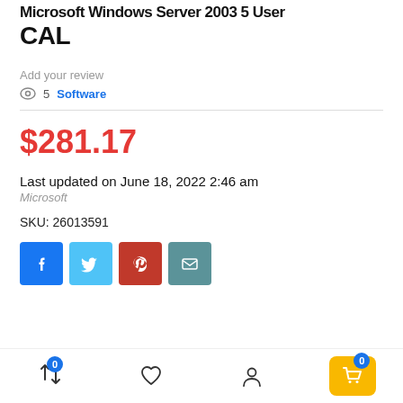Microsoft Windows Server 2003 5 User CAL
Add your review
👁 5  Software
$281.17
Last updated on June 18, 2022 2:46 am
Microsoft
SKU: 26013591
[Figure (other): Social share buttons: Facebook, Twitter, Pinterest, Email]
Bottom navigation bar with compare (0), wishlist, account, and cart (0) icons